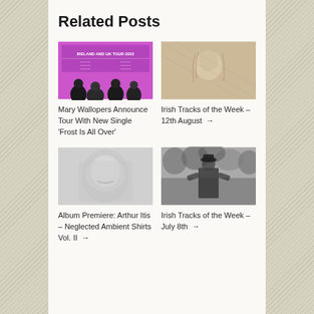Related Posts
[Figure (photo): Mary Wallopers Ireland and UK Tour 2022 poster with band photo on pink background]
Mary Wallopers Announce Tour With New Single 'Frost Is All Over' →
[Figure (photo): Portrait of a person with long hair against a textured background]
Irish Tracks of the Week – 12th August →
[Figure (photo): Blurred black and white portrait of a person]
Album Premiere: Arthur Itis – Neglected Ambient Shirts Vol. II →
[Figure (photo): Black and white photo of a person outdoors among foliage]
Irish Tracks of the Week – July 8th →